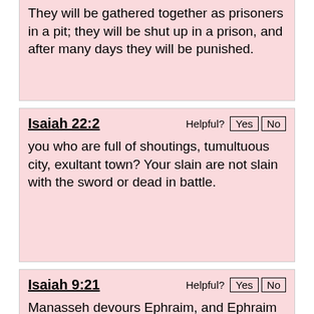They will be gathered together as prisoners in a pit; they will be shut up in a prison, and after many days they will be punished.
Isaiah 22:2
you who are full of shoutings, tumultuous city, exultant town? Your slain are not slain with the sword or dead in battle.
Isaiah 9:21
Manasseh devours Ephraim, and Ephraim